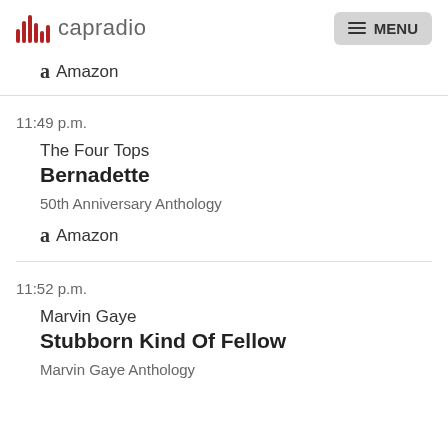capradio  MENU
Amazon
11:49 p.m.
The Four Tops
Bernadette
50th Anniversary Anthology
Amazon
11:52 p.m.
Marvin Gaye
Stubborn Kind Of Fellow
Marvin Gaye Anthology